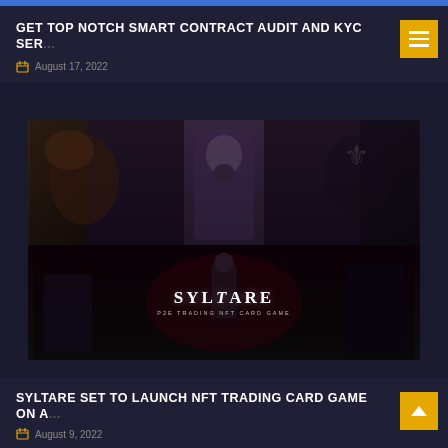GET TOP NOTCH SMART CONTRACT AUDIT AND KYC SER...
August 17, 2022
[Figure (illustration): Dark fantasy game artwork showing multiple characters. The top half shows a bearded man in formal attire centered, with creature figures on the left and a heraldic eagle emblem on the right. The bottom half shows a smaller figure with the SYLTARE P2E TRADING NFT CARD GAME branding overlaid in white text on a dark background.]
SYLTARE SET TO LAUNCH NFT TRADING CARD GAME ON A...
August 9, 2022